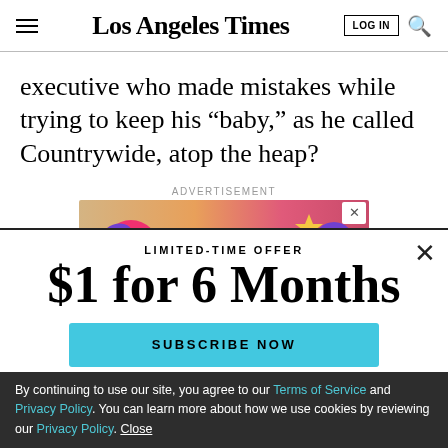Los Angeles Times
executive who made mistakes while trying to keep his “baby,” as he called Countrywide, atop the heap?
ADVERTISEMENT
[Figure (illustration): Colorful advertisement banner with illustrated fruit/food characters on a pink-to-tan gradient background]
LIMITED-TIME OFFER
$1 for 6 Months
SUBSCRIBE NOW
By continuing to use our site, you agree to our Terms of Service and Privacy Policy. You can learn more about how we use cookies by reviewing our Privacy Policy. Close